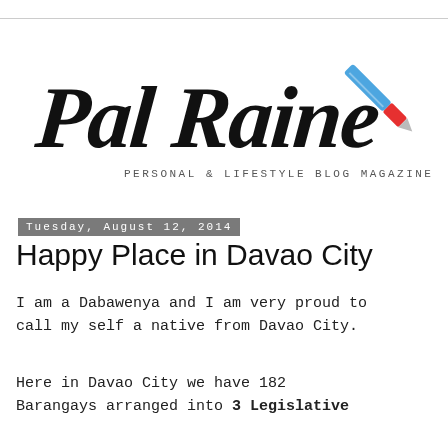[Figure (logo): Pal Raine Personal & Lifestyle Blog Magazine logo with cursive script text and a ballpoint pen illustration]
Tuesday, August 12, 2014
Happy Place in Davao City
I am a Dabawenya and I am very proud to call my self a native from Davao City.
Here in Davao City we have 182 Barangays arranged into 3 Legislative